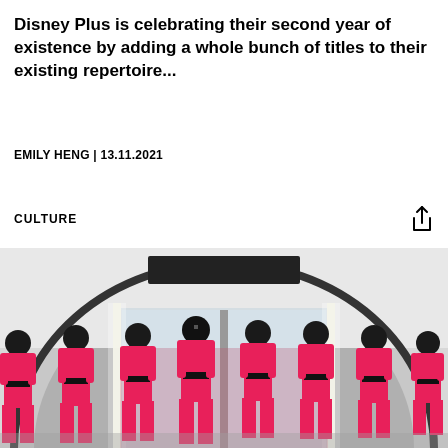Disney Plus is celebrating their second year of existence by adding a whole bunch of titles to their existing repertoire...
EMILY HENG | 13.11.2021
CULTURE
[Figure (photo): Eight people dressed in pink jumpsuits with black belts and round black helmets/masks standing in a row in front of a large glass door with white neon lights on either side, in an arched tunnel-like room with white brick walls. Scene from Squid Game.]